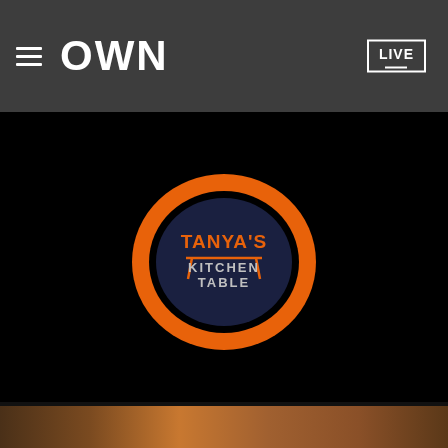OWN — LIVE
[Figure (logo): Tanya's Kitchen Table logo — orange irregular oval ring on black background, with navy blue inner ellipse containing orange text 'TANYA'S' above a stylized table graphic and text 'KITCHEN TABLE']
HOME   FULL EPISODES   CLIPS   RECIPES
[Figure (photo): Partial photo of food — appears to be fried or baked items in a dark pan, warm orange-brown tones visible at bottom of page]